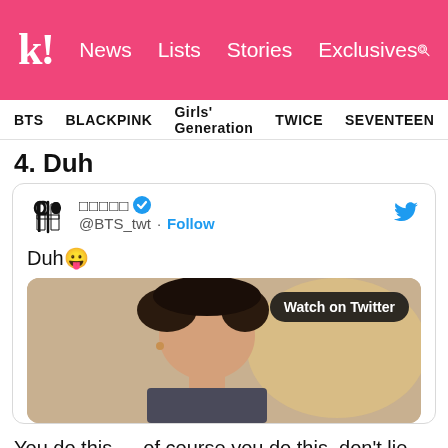k! News  Lists  Stories  Exclusives
BTS  BLACKPINK  Girls' Generation  TWICE  SEVENTEEN
4. Duh
[Figure (screenshot): Embedded tweet from @BTS_twt with text 'Duh 😛' and a video thumbnail showing a person with a 'Watch on Twitter' button overlay]
You do this — of course you do this, don't lie — and so does Jungkook. Naturally, he holds his own dance offs in his hotel room and he tweets